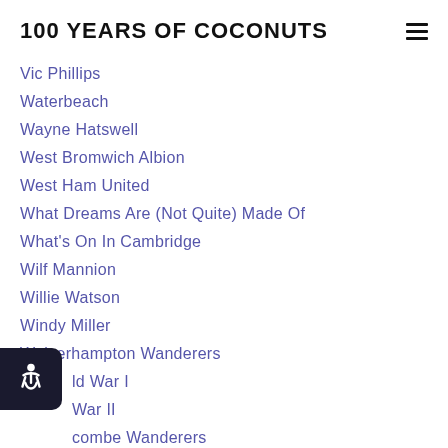100 YEARS OF COCONUTS
Vic Phillips
Waterbeach
Wayne Hatswell
West Bromwich Albion
West Ham United
What Dreams Are (Not Quite) Made Of
What's On In Cambridge
Wilf Mannion
Willie Watson
Windy Miller
Wolverhampton Wanderers
World War I
World War II
Wycombe Wanderers
Yeovil Town